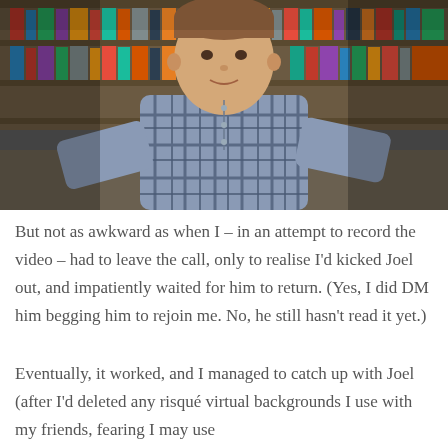[Figure (photo): A man in a blue plaid short-sleeve shirt sitting in what appears to be a library with bookshelves in the background, looking at the camera with a slight smirk.]
But not as awkward as when I – in an attempt to record the video – had to leave the call, only to realise I'd kicked Joel out, and impatiently waited for him to return. (Yes, I did DM him begging him to rejoin me. No, he still hasn't read it yet.)
Eventually, it worked, and I managed to catch up with Joel (after I'd deleted any risqué virtual backgrounds I use with my friends, fearing I may use